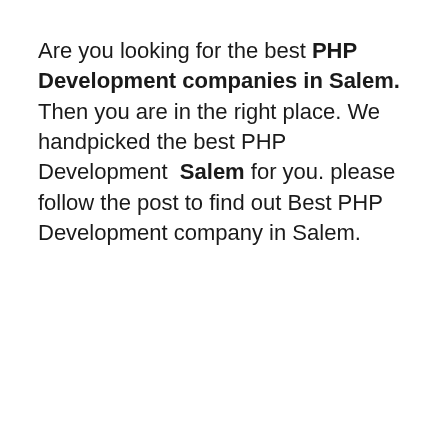Are you looking for the best PHP Development companies in Salem.  Then you are in the right place. We handpicked the best PHP Development  Salem for you. please follow the post to find out Best PHP Development company in Salem.